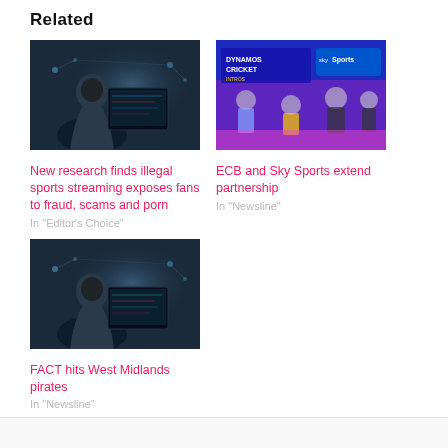Related
[Figure (photo): Hooded hacker figure in front of computer screens with network graphics]
New research finds illegal sports streaming exposes fans to fraud, scams and porn
In "Editor's Choice"
[Figure (photo): ECB Dynamos Cricket with Sky Sports, group of people posing in front of blue wall]
ECB and Sky Sports extend partnership
In "Newsline"
[Figure (photo): Hooded hacker figure in front of computer screens with network graphics]
FACT hits West Midlands pirates
In "Newsline"